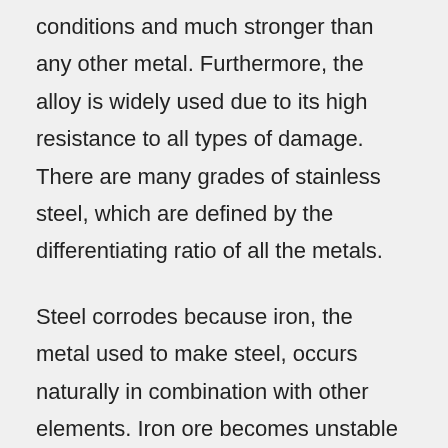conditions and much stronger than any other metal. Furthermore, the alloy is widely used due to its high resistance to all types of damage. There are many grades of stainless steel, which are defined by the differentiating ratio of all the metals.
Steel corrodes because iron, the metal used to make steel, occurs naturally in combination with other elements. Iron ore becomes unstable and readily recombines with oxygen after being artificially manipulated into a pure form for the purpose of making steel. When chromium is added to steel, chromium oxide is formed, which acts as a protective surface to prevent rusting caused by air and moisture,